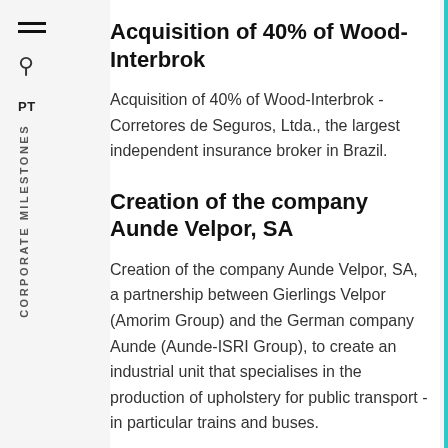Acquisition of 40% of Wood-Interbrok
Acquisition of 40% of Wood-Interbrok - Corretores de Seguros, Ltda., the largest independent insurance broker in Brazil.
Creation of the company Aunde Velpor, SA
Creation of the company Aunde Velpor, SA, a partnership between Gierlings Velpor (Amorim Group) and the German company Aunde (Aunde-ISRI Group), to create an industrial unit that specialises in the production of upholstery for public transport - in particular trains and buses.